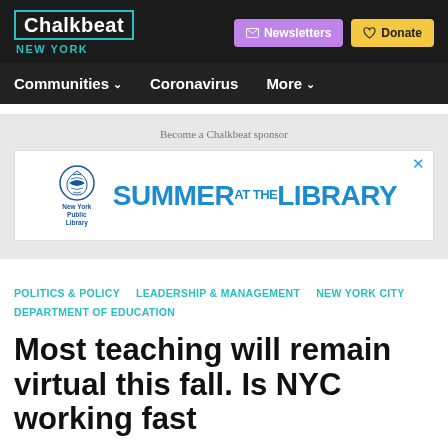Chalkbeat NEW YORK
[Figure (logo): Chalkbeat New York logo in white text with teal border, with NEW YORK subtitle in teal below]
[Figure (screenshot): Newsletters button (purple) and Donate button (yellow) in header]
Communities ∨   Coronavirus   More ∨
Become a Chalkbeat sponsor
[Figure (illustration): New York Public Library Summer at the Library ad banner with NYPL lion logo and blue text SUMMER AT THE LIBRARY]
POLITICS & POLICY   LEADERSHIP & MANAGEMENT   NEW YORK CITY DEPARTMENT OF EDUCATION
Most teaching will remain virtual this fall. Is NYC working fast